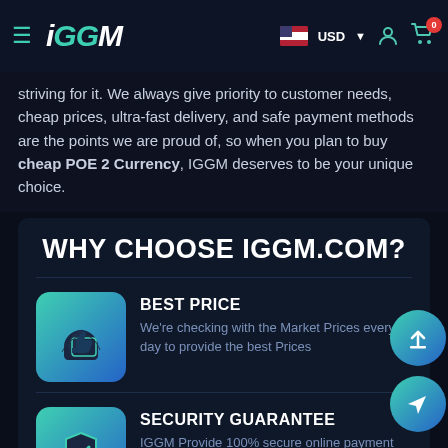iGGM — USD — navigation bar with hamburger menu, user icon, cart (0)
striving for it. We always give priority to customer needs, cheap prices, ultra-fast delivery, and safe payment methods are the points we are proud of, so when you plan to buy cheap POE 2 Currency, IGGM deserves to be your unique choice.
WHY CHOOSE IGGM.COM?
BEST PRICE
We're checking with the Market Prices every day to provide the best Prices
SECURITY GUARANTEE
IGGM Provide 100% secure online payment system. The professional game service provider guarantee the security of products